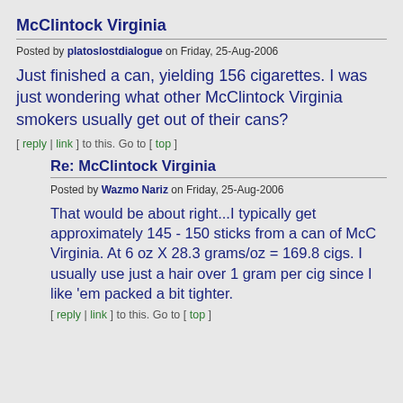McClintock Virginia
Posted by platoslostdialogue on Friday, 25-Aug-2006
Just finished a can, yielding 156 cigarettes. I was just wondering what other McClintock Virginia smokers usually get out of their cans?
[ reply | link ] to this. Go to [ top ]
Re: McClintock Virginia
Posted by Wazmo Nariz on Friday, 25-Aug-2006
That would be about right...I typically get approximately 145 - 150 sticks from a can of McC Virginia. At 6 oz X 28.3 grams/oz = 169.8 cigs. I usually use just a hair over 1 gram per cig since I like 'em packed a bit tighter.
[ reply | link ] to this. Go to [ top ]